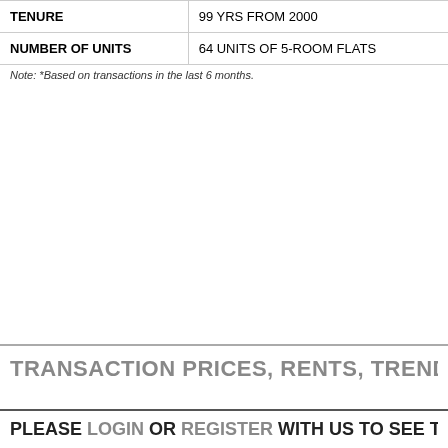| TENURE | 99 YRS FROM 2000 |
| NUMBER OF UNITS | 64 UNITS OF 5-ROOM FLATS |
Note: *Based on transactions in the last 6 months.
TRANSACTION PRICES, RENTS, TRENDS A
PLEASE LOGIN OR REGISTER WITH US TO SEE T